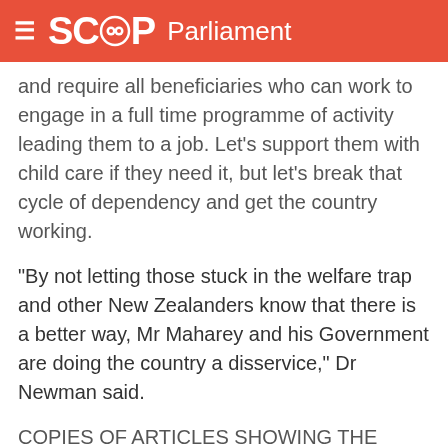SCOOP Parliament
and require all beneficiaries who can work to engage in a full time programme of activity leading them to a job. Let's support them with child care if they need it, but let's break that cycle of dependency and get the country working.
"By not letting those stuck in the welfare trap and other New Zealanders know that there is a better way, Mr Maharey and his Government are doing the country a disservice," Dr Newman said.
COPIES OF ARTICLES SHOWING THE SUCCESS OF TIME LIMITS ARE AVAILABLE